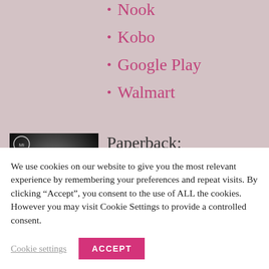Nook
Kobo
Google Play
Walmart
[Figure (photo): Book cover for 'Harder Than...' showing a shirtless male figure, dark moody background, Mi logo circle in top left corner]
Paperback:
Signed by Carrie Ann
We use cookies on our website to give you the most relevant experience by remembering your preferences and repeat visits. By clicking “Accept”, you consent to the use of ALL the cookies. However you may visit Cookie Settings to provide a controlled consent.
Cookie settings
ACCEPT